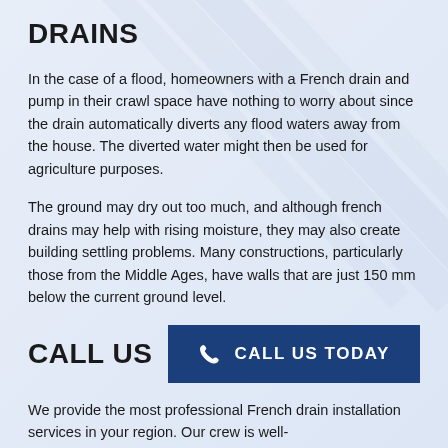DRAINS
In the case of a flood, homeowners with a French drain and pump in their crawl space have nothing to worry about since the drain automatically diverts any flood waters away from the house. The diverted water might then be used for agriculture purposes.
The ground may dry out too much, and although french drains may help with rising moisture, they may also create building settling problems. Many constructions, particularly those from the Middle Ages, have walls that are just 150 mm below the current ground level.
CALL US
[Figure (infographic): Dark blue button with phone icon and text CALL US TODAY]
We provide the most professional French drain installation services in your region. Our crew is well-